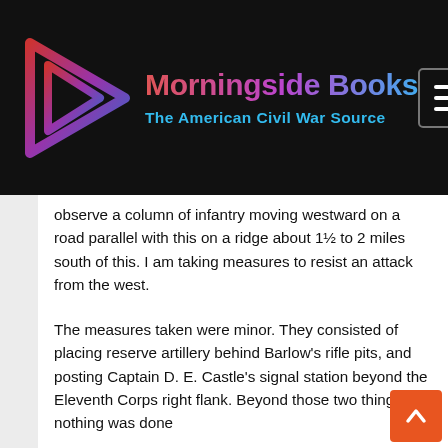Morningside Books – The American Civil War Source
observe a column of infantry moving westward on a road parallel with this on a ridge about 1½ to 2 miles south of this. I am taking measures to resist an attack from the west.
The measures taken were minor. They consisted of placing reserve artillery behind Barlow's rifle pits, and posting Captain D. E. Castle's signal station beyond the Eleventh Corps right flank. Beyond those two things, nothing was done
Hooker could only speculate as to the measures Howard was taking. It mattered little to him, however, for by noon he was convinced that the Confederates were not attacking, but were in